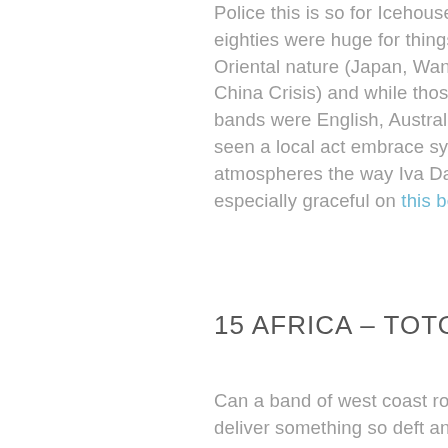Police this is so for Icehouse. The eighties were huge for things of an Oriental nature (Japan, Wang Chung, China Crisis) and while those three bands were English, Australia had never seen a local act embrace synths or atmospheres the way Iva Davies did; especially graceful on this beauty.
15 AFRICA – TOTO
Can a band of west coast rockers really deliver something so deft and so hauntingly beautiful that it appealed to the masses? Well yes